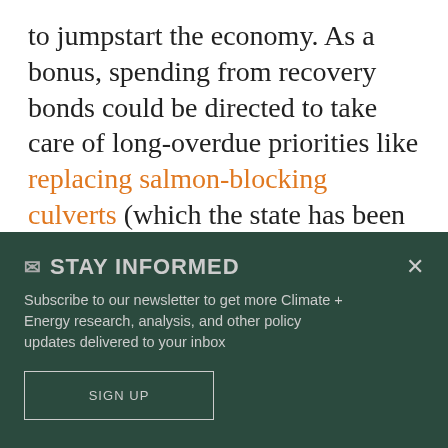to jumpstart the economy. As a bonus, spending from recovery bonds could be directed to take care of long-overdue priorities like replacing salmon-blocking culverts (which the state has been legally ordered to do, but can't pay for) and restoring unhealthy forests that are prone to wildfire. Spending of this sort would benefit the environment in obvious ways,
STAY INFORMED
Subscribe to our newsletter to get more Climate + Energy research, analysis, and other policy updates delivered to your inbox
SIGN UP